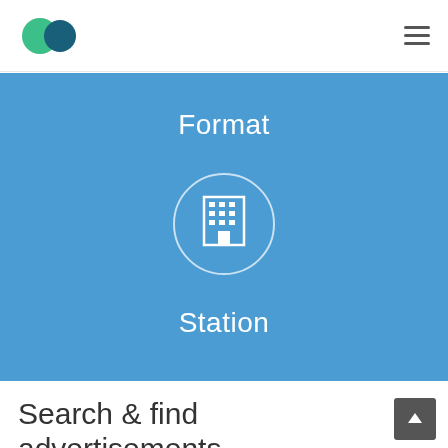Logo and navigation bar with hamburger menu
[Figure (infographic): Blue panel with 'Format' label at top, a circular icon containing a building/station graphic in the center, and 'Station' label below]
Search & find advertisements